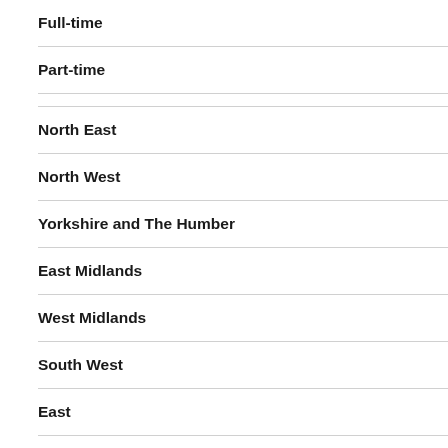| Category | Value |
| --- | --- |
| Full-time | 10 |
| Part-time | 15 |
| North East | 12 |
| North West | 11 |
| Yorkshire and The Humber | 12 |
| East Midlands | 13 |
| West Midlands | 14 |
| South West | 14 |
| East | 12 |
| London | 8 |
| South East | 12 |